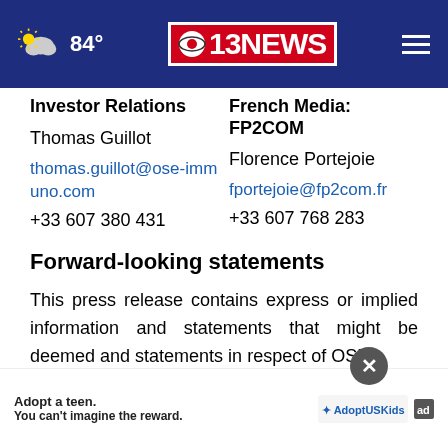84° | 13 NEWS (CBS)
Investor Relations
Thomas Guillot
thomas.guillot@ose-immuno.com
+33 607 380 431
French Media: FP2COM
Florence Portejoie
fportejoie@fp2com.fr
+33 607 768 283
Forward-looking statements
This press release contains express or implied information and statements that might be deemed and statements in respect of OSE